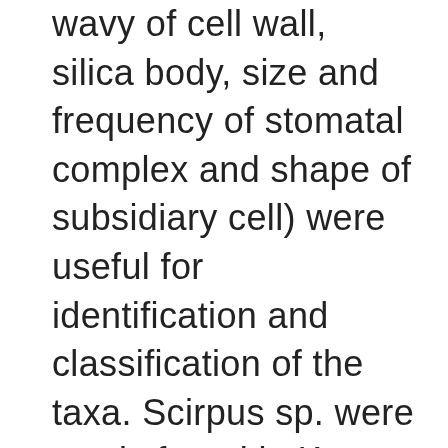wavy of cell wall, silica body, size and frequency of stomatal complex and shape of subsidiary cell) were useful for identification and classification of the taxa. Scirpus sp. were newly found in Korea, while the taxonomic positions and Korean names of S. fluviatilis (Torr.) A. Gray, S. maritimus L., S. planiculmis Schmidt., S.